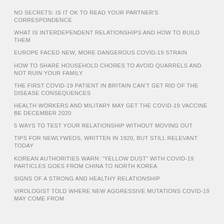NO SECRETS: IS IT OK TO READ YOUR PARTNER'S CORRESPONDENCE
WHAT IS INTERDEPENDENT RELATIONSHIPS AND HOW TO BUILD THEM
EUROPE FACED NEW, MORE DANGEROUS COVID-19 STRAIN
HOW TO SHARE HOUSEHOLD CHORES TO AVOID QUARRELS AND NOT RUIN YOUR FAMILY
THE FIRST COVID-19 PATIENT IN BRITAIN CAN'T GET RID OF THE DISEASE CONSEQUENCES
HEALTH WORKERS AND MILITARY MAY GET THE COVID-19 VACCINE BE DECEMBER 2020
5 WAYS TO TEST YOUR RELATIONSHIP WITHOUT MOVING OUT
TIPS FOR NEWLYWEDS, WRITTEN IN 1920, BUT STILL RELEVANT TODAY
KOREAN AUTHORITIES WARN: “YELLOW DUST” WITH COVID-19 PARTICLES GOES FROM CHINA TO NORTH KOREA
SIGNS OF A STRONG AND HEALTHY RELATIONSHIP
VIROLOGIST TOLD WHERE NEW AGGRESSIVE MUTATIONS COVID-19 MAY COME FROM